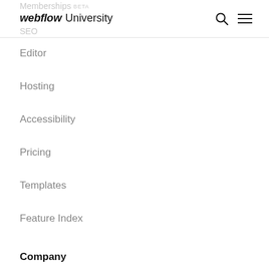Memberships BETA | webflow University | SEO
Editor
Hosting
Accessibility
Pricing
Templates
Feature Index
Company